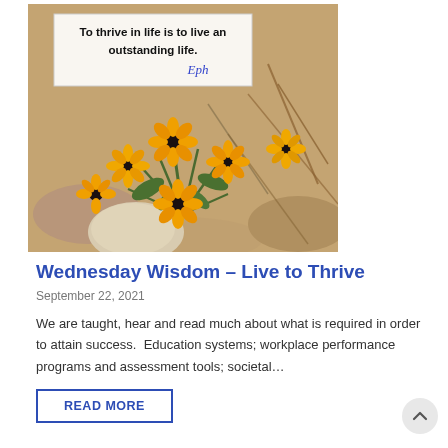[Figure (photo): Photograph of yellow/orange flowers (resembling black-eyed Susans or marigolds) growing among rocks and dry brush, with a quote overlay box reading 'To thrive in life is to live an outstanding life.' with a blue cursive signature.]
Wednesday Wisdom – Live to Thrive
September 22, 2021
We are taught, hear and read much about what is required in order to attain success.  Education systems; workplace performance programs and assessment tools; societal…
READ MORE